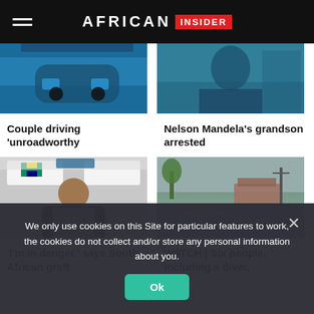AFRICAN INSIDER
[Figure (photo): Partial image of a car, blue tones, top of article card]
Couple driving 'unroadworthy
[Figure (photo): Partial portrait image, blue tones, top of article card]
Nelson Mandela's grandson arrested
[Figure (photo): Man in dark jacket seated in front of commission of inquiry banner with South African flag]
'I'm in danger,' says South African graft
[Figure (photo): Flooded road with brown water, buildings and utility poles in background]
WATCH | Six people, including a diver,
We only use cookies on this Site for particular features to work, the cookies do not collect and/or store any personal information about you.